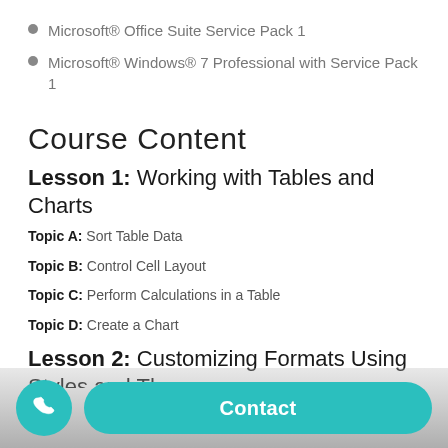Microsoft® Office Suite Service Pack 1
Microsoft® Windows® 7 Professional with Service Pack 1
Course Content
Lesson 1: Working with Tables and Charts
Topic A: Sort Table Data
Topic B: Control Cell Layout
Topic C: Perform Calculations in a Table
Topic D: Create a Chart
Lesson 2: Customizing Formats Using Styles and Themes
Topic A: Apply Styles Quickly